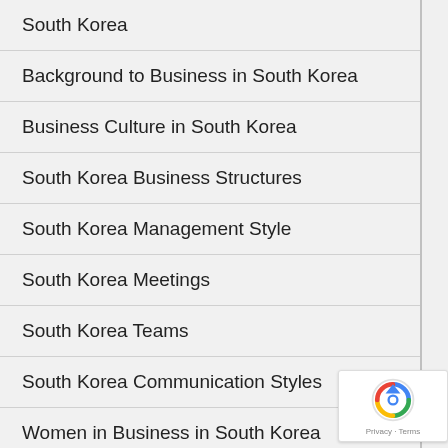South Korea
Background to Business in South Korea
Business Culture in South Korea
South Korea Business Structures
South Korea Management Style
South Korea Meetings
South Korea Teams
South Korea Communication Styles
Women in Business in South Korea